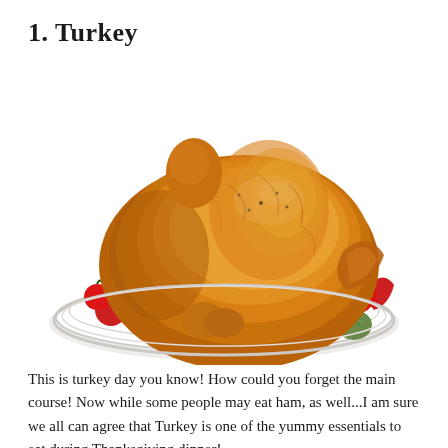1. Turkey
[Figure (photo): A roasted turkey on a white serving platter, surrounded by colorful vegetables including tomatoes, green beans, yellow squash, mushrooms, green peppers, and artichokes.]
This is turkey day you know! How could you forget the main course! Now while some people may eat ham, as well...I am sure we all can agree that Turkey is one of the yummy essentials to eat during Thanksgiving dinner!